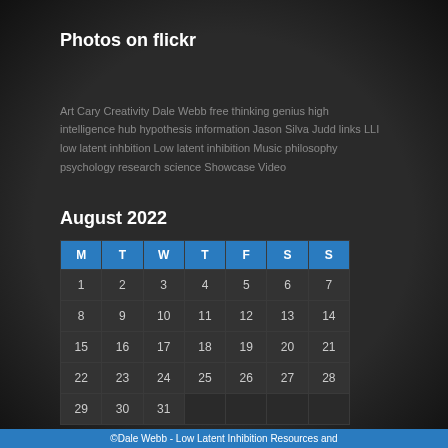Photos on flickr
Art Cary Creativity Dale Webb free thinking genius high intelligence hub hypothesis information Jason Silva Judd links LLI low latent inhbition Low latent inhibition Music philosophy psychology research science Showcase Video
August 2022
| M | T | W | T | F | S | S |
| --- | --- | --- | --- | --- | --- | --- |
| 1 | 2 | 3 | 4 | 5 | 6 | 7 |
| 8 | 9 | 10 | 11 | 12 | 13 | 14 |
| 15 | 16 | 17 | 18 | 19 | 20 | 21 |
| 22 | 23 | 24 | 25 | 26 | 27 | 28 |
| 29 | 30 | 31 |  |  |  |  |
« Jul
©Dale Webb - Low Latent Inhibition Resources and